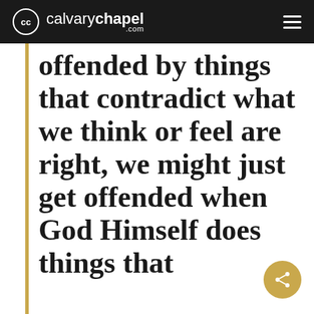calvarychapel.com
offended by things that contradict what we think or feel are right, we might just get offended when God Himself does things that